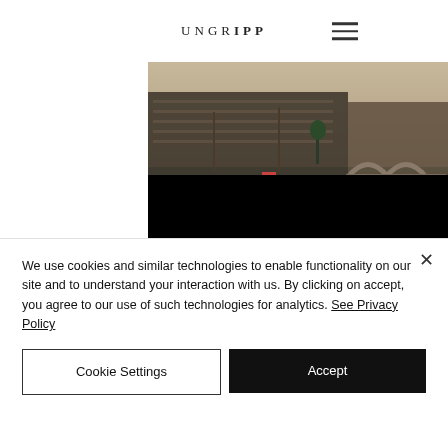UNGRIPP
[Figure (photo): Aerial/riverside view of the Palace of Westminster (Houses of Parliament) in London along the Thames, with a red boat on the river and a bridge visible on the right side.]
PARLIAMENTARY ARCHIVE
We use cookies and similar technologies to enable functionality on our site and to understand your interaction with us. By clicking on accept, you agree to our use of such technologies for analytics. See Privacy Policy